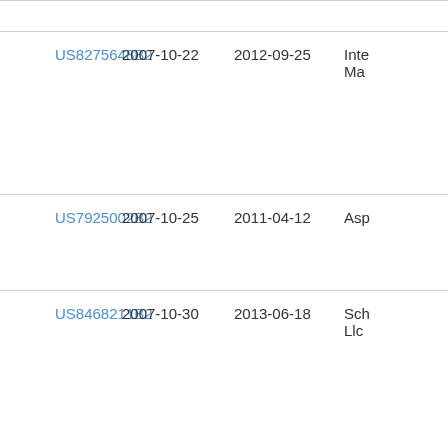| Patent Number | Filed Date | Grant Date | Title |
| --- | --- | --- | --- |
| US8275648B2 | 2007-10-22 | 2012-09-25 | Inte Ma |
| US7925002B2 | 2007-10-25 | 2011-04-12 | Asp |
| US8468211B2 | 2007-10-30 | 2013-06-18 | Sch Llc |
| US8799068B2 | 2007-11-05 | 2014-08-05 | Fac |